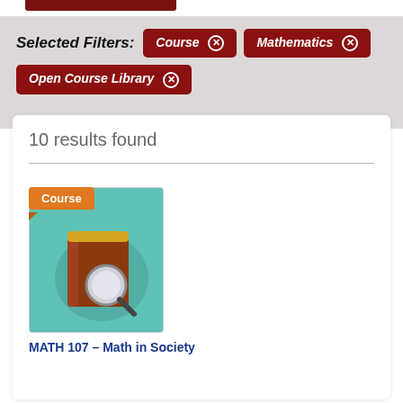Selected Filters: Course × Mathematics × Open Course Library ×
10 results found
Course
[Figure (illustration): A flat-style illustration of a brown book with a magnifying glass on a teal background, representing a course search result.]
MATH 107 – Math in Society